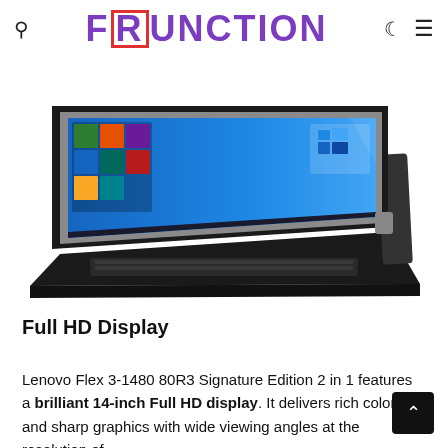FRUNCTION [search icon, moon icon, menu icon]
[Figure (photo): Lenovo Flex 3-1480 2-in-1 laptop/tablet shown at an angle in laptop mode with Windows 10 displayed on screen, black chassis with silver hinge]
Full HD Display
Lenovo Flex 3-1480 80R3 Signature Edition 2 in 1 features a brilliant 14-inch Full HD display. It delivers rich colors and sharp graphics with wide viewing angles at the resolution of